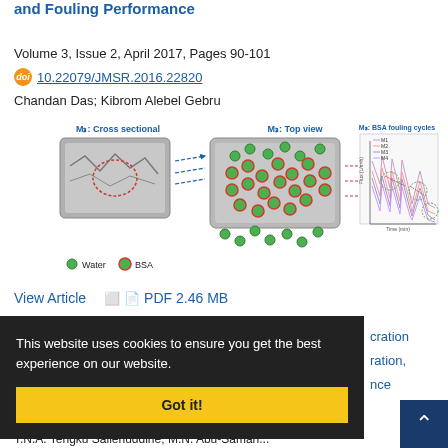and Fouling Performance
Volume 3, Issue 2, April 2017, Pages 90-101
10.22079/JMSR.2016.22820
Chandan Das; Kibrom Alebel Gebru
[Figure (illustration): Diagram showing M3 membrane cross sectional view, top view with water and BSA molecules (green and red-green dots), and M3 BSA fouling cycles graph with multiple series (M1, M2, M3, M4) over time (min) showing flux (L/m2h). Legend shows Water and BSA dots.]
View Article    PDF 2.46 MB
This website uses cookies to ensure you get the best experience on our website.
Got it!
cration
ration,
nce
T.N.A. Tengku Sallehuddine; M.N. Abu-Saman...